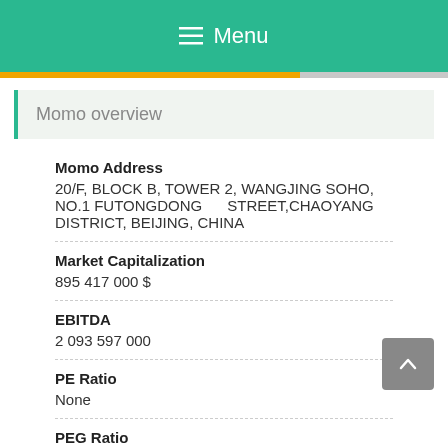Menu
Momo overview
Momo Address
20/F, BLOCK B, TOWER 2, WANGJING SOHO, NO.1 FUTONGDONG STREET,CHAOYANG DISTRICT, BEIJING, CHINA
Market Capitalization
895 417 000 $
EBITDA
2 093 597 000
PE Ratio
None
PEG Ratio
0.737
Dividend Per Share